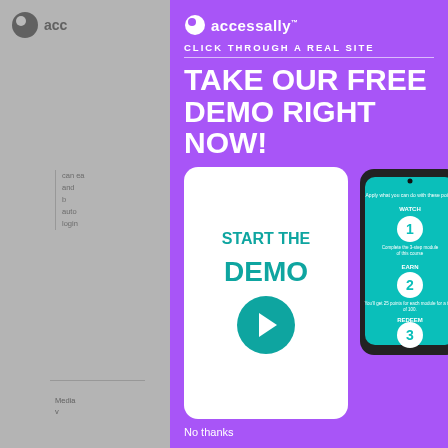[Figure (screenshot): Blurred background of AccessAlly website page with logo, text content, media section, cookie bar, and navigation elements]
[Figure (infographic): Purple modal popup for AccessAlly demo with logo, 'Click Through a Real Site' subtitle, 'Take Our Free Demo Right Now!' headline, a white CTA box with 'Start the Demo' text and teal play button, a phone mockup showing Watch/Earn/Redeem steps 1/2/3, and 'No thanks' link at bottom]